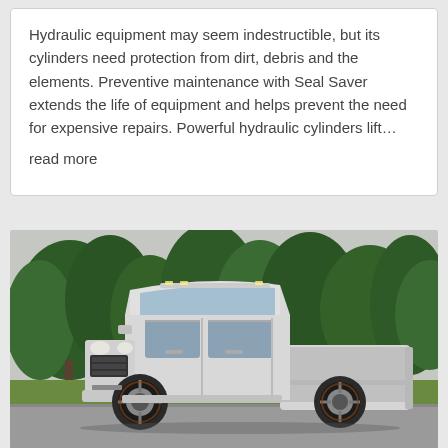Hydraulic equipment may seem indestructible, but its cylinders need protection from dirt, debris and the elements. Preventive maintenance with Seal Saver extends the life of equipment and helps prevent the need for expensive repairs. Powerful hydraulic cylinders lift… read more
[Figure (photo): A white pickup truck parked on a paved surface with a background of tall green pine trees and grass. The truck has a crew cab and short bed, with dark rims.]